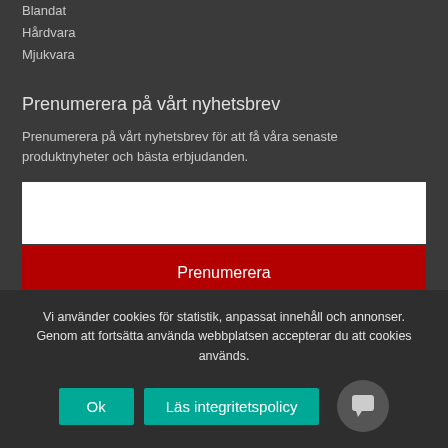Blandat
Hårdvara
Mjukvara
Prenumerera på vårt nyhetsbrev
Prenumerera på vårt nyhetsbrev för att få våra senaste produktnyheter och bästa erbjudanden.
Prenumerera
Vi använder cookies för statistik, anpassat innehåll och annonser. Genom att fortsätta använda webbplatsen accepterar du att cookies används.
Ok
Läs integritetspolicy